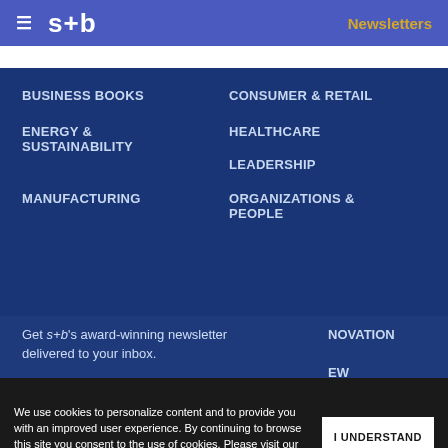s+b  Newsletters
BUSINESS BOOKS
CONSUMER & RETAIL
ENERGY & SUSTAINABILITY
HEALTHCARE
LEADERSHIP
MANUFACTURING
ORGANIZATIONS & PEOPLE
Get s+b's award-winning newsletter delivered to your inbox.
NOVATION
EW
We use cookies to personalize content and to provide you with an improved user experience. By continuing to browse this site you consent to the use of cookies. Please visit our cookie policy for further details.